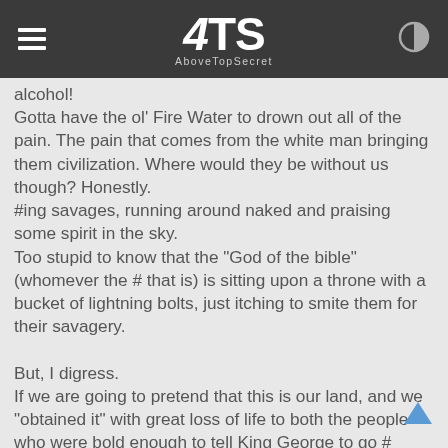AboveTopSecret (4TS) header with hamburger menu and contrast icon
alcohol!
Gotta have the ol' Fire Water to drown out all of the pain. The pain that comes from the white man bringing them civilization. Where would they be without us though? Honestly.
#ing savages, running around naked and praising some spirit in the sky.
Too stupid to know that the "God of the bible" (whomever the # that is) is sitting upon a throne with a bucket of lightning bolts, just itching to smite them for their savagery.

But, I digress.
If we are going to pretend that this is our land, and we "obtained it" with great loss of life to both the people who were bold enough to tell King George to go # himself as well as the injuns who died trying to get to the desert in order to make room for their new BFF's who needed the land a little more than they did then, well, I guess it only makes sense to blow # up and drown ourselves in alcohol so we can also forget the pain that comes from watching ourselves be ass raped by an evil, corrupt, banking cartel who is systematically destroying our nation by terrorizing its citizens